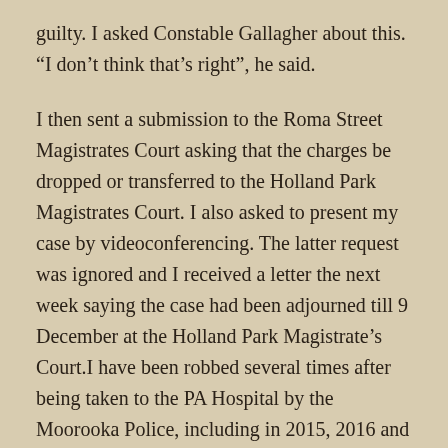guilty. I asked Constable Gallagher about this. “I don’t think that’s right”, he said.
I then sent a submission to the Roma Street Magistrates Court asking that the charges be dropped or transferred to the Holland Park Magistrates Court. I also asked to present my case by videoconferencing. The latter request was ignored and I received a letter the next week saying the case had been adjourned till 9 December at the Holland Park Magistrate’s Court.I have been robbed several times after being taken to the PA Hospital by the Moorooka Police, including in 2015, 2016 and 2017. The thefts have included my valuable coin collection, stamp collection, musical equipment, recording equipment, cameras, computers and memory sticks. I reported these robberies to the police several